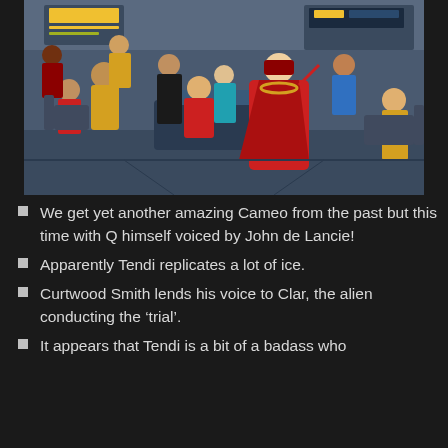[Figure (illustration): Animated scene from Star Trek: Lower Decks showing multiple crew members in Starfleet uniforms on the bridge, with a figure in a dramatic red robe and crown-like hat gesturing authoritatively.]
We get yet another amazing Cameo from the past but this time with Q himself voiced by John de Lancie!
Apparently Tendi replicates a lot of ice.
Curtwood Smith lends his voice to Clar, the alien conducting the ‘trial’.
It appears that Tendi is a bit of a badass who